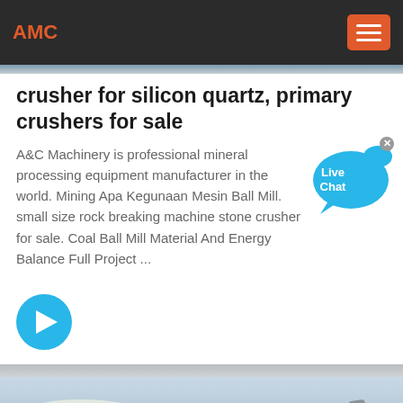AMC
crusher for silicon quartz, primary crushers for sale
A&C Machinery is professional mineral processing equipment manufacturer in the world. Mining Apa Kegunaan Mesin Ball Mill. small size rock breaking machine stone crusher for sale. Coal Ball Mill Material And Energy Balance Full Project ...
[Figure (other): Live Chat bubble widget with close button (x) in top-right corner]
[Figure (other): Cyan circular arrow button pointing right]
[Figure (photo): Photo of a quarry/mining site with white rock piles and crushing/conveyor machinery on right side, light blue sky in background]